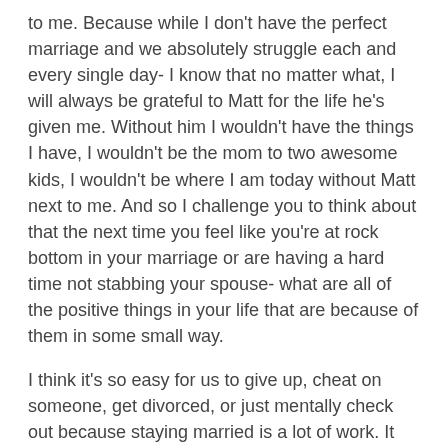to me. Because while I don't have the perfect marriage and we absolutely struggle each and every single day- I know that no matter what, I will always be grateful to Matt for the life he's given me. Without him I wouldn't have the things I have, I wouldn't be the mom to two awesome kids, I wouldn't be where I am today without Matt next to me. And so I challenge you to think about that the next time you feel like you're at rock bottom in your marriage or are having a hard time not stabbing your spouse- what are all of the positive things in your life that are because of them in some small way.
I think it's so easy for us to give up, cheat on someone, get divorced, or just mentally check out because staying married is a lot of work. It requires patience, forvgiveness, the ability to break down what you're angry about and see what part specifically is making you angry and why, and most of all, humility. It's not always going to be easy or perfect- and you have to know going in that there are going to be a lot of days where you will question your decision. And that's OK.
I highly encourage everybody to read this. I loved this book